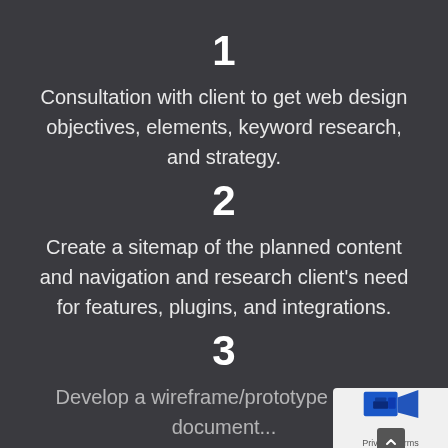1
Consultation with client to get web design objectives, elements, keyword research, and strategy.
2
Create a sitemap of the planned content and navigation and research client's need for features, plugins, and integrations.
3
Develop a wireframe/prototype design document...